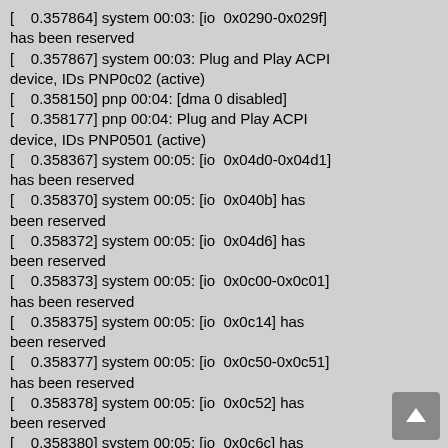[    0.357864] system 00:03: [io  0x0290-0x029f] has been reserved
[    0.357867] system 00:03: Plug and Play ACPI device, IDs PNP0c02 (active)
[    0.358150] pnp 00:04: [dma 0 disabled]
[    0.358177] pnp 00:04: Plug and Play ACPI device, IDs PNP0501 (active)
[    0.358367] system 00:05: [io  0x04d0-0x04d1] has been reserved
[    0.358370] system 00:05: [io  0x040b] has been reserved
[    0.358372] system 00:05: [io  0x04d6] has been reserved
[    0.358373] system 00:05: [io  0x0c00-0x0c01] has been reserved
[    0.358375] system 00:05: [io  0x0c14] has been reserved
[    0.358377] system 00:05: [io  0x0c50-0x0c51] has been reserved
[    0.358378] system 00:05: [io  0x0c52] has been reserved
[    0.358380] system 00:05: [io  0x0c6c] has been reserved
[    0.358381] system 00:05: [io  0x0c6f] has been reserved